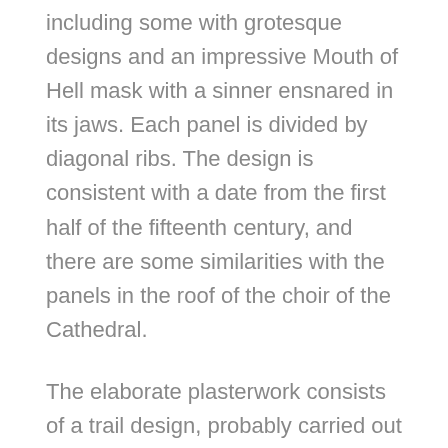including some with grotesque designs and an impressive Mouth of Hell mask with a sinner ensnared in its jaws. Each panel is divided by diagonal ribs. The design is consistent with a date from the first half of the fifteenth century, and there are some similarities with the panels in the roof of the choir of the Cathedral.
The elaborate plasterwork consists of a trail design, probably carried out during the seventeenth-century conversion. The panelling and doors are also of seventeenth-century date. The set of twelve ladder-back mahogany chairs date from about 1770 and stand cheek by jowl with earlier oak furniture, including a three-legged chair said to have belonged to Humphrey Chetham, and some carved panel-back